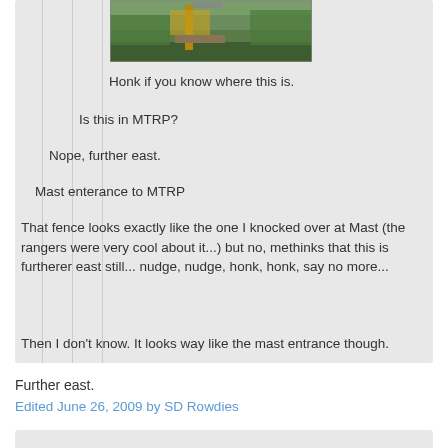[Figure (photo): Outdoor photo showing machinery or equipment near water with green vegetation in background]
Honk if you know where this is.
Is this in MTRP?
Nope, further east.
Mast enterance to MTRP
That fence looks exactly like the one I knocked over at Mast (the rangers were very cool about it...) but no, methinks that this is furtherer east still... nudge, nudge, honk, honk, say no more...
Then I don't know. It looks way like the mast entrance though.
Further east.
Edited June 26, 2009 by SD Rowdies